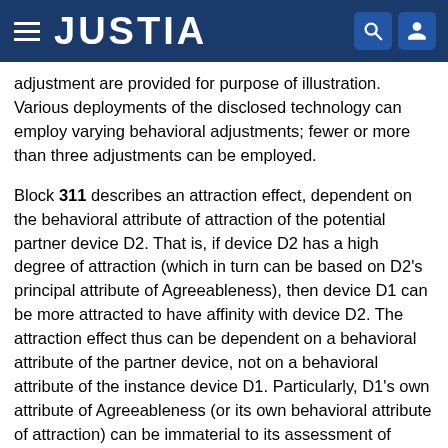JUSTIA
adjustment are provided for purpose of illustration. Various deployments of the disclosed technology can employ varying behavioral adjustments; fewer or more than three adjustments can be employed.
Block 311 describes an attraction effect, dependent on the behavioral attribute of attraction of the potential partner device D2. That is, if device D2 has a high degree of attraction (which in turn can be based on D2's principal attribute of Agreeableness), then device D1 can be more attracted to have affinity with device D2. The attraction effect thus can be dependent on a behavioral attribute of the partner device, not on a behavioral attribute of the instance device D1. Particularly, D1's own attribute of Agreeableness (or its own behavioral attribute of attraction) can be immaterial to its assessment of device D2. The attraction effect can be